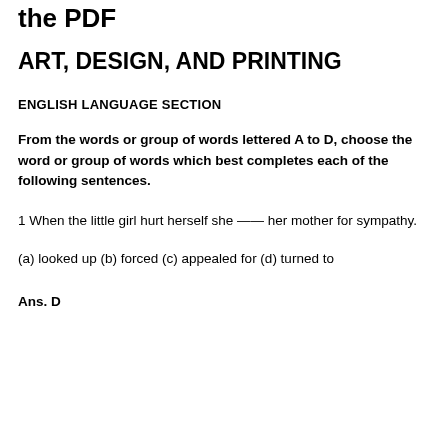the PDF
ART, DESIGN, AND PRINTING
ENGLISH LANGUAGE SECTION
From the words or group of words lettered A to D, choose the word or group of words which best completes each of the following sentences.
1 When the little girl hurt herself she —— her mother for sympathy.
(a) looked up (b) forced (c) appealed for (d) turned to
Ans. D